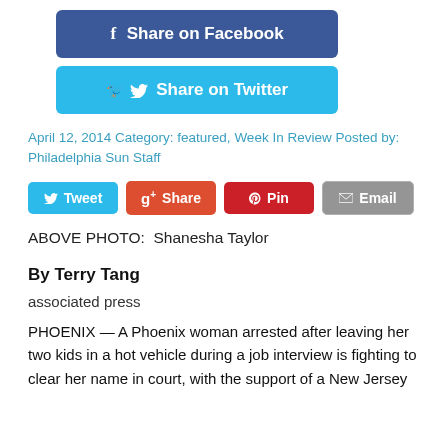[Figure (other): Share on Facebook button - blue rounded rectangle with Facebook f icon]
[Figure (other): Share on Twitter button - light blue rounded rectangle with Twitter bird icon]
April 12, 2014 Category: featured, Week In Review Posted by: Philadelphia Sun Staff
[Figure (other): Social sharing buttons row: Tweet (Twitter/blue), Share (Google+/red-orange), Pin (Pinterest/red), Email (grey)]
ABOVE PHOTO:  Shanesha Taylor
By Terry Tang
associated press
PHOENIX — A Phoenix woman arrested after leaving her two kids in a hot vehicle during a job interview is fighting to clear her name in court, with the support of a New Jersey